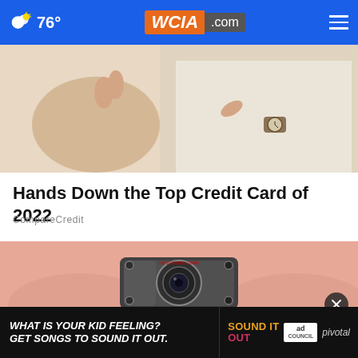76° WCIA.com
[Figure (photo): Two people in white shirts, one pointing at the other's wrist wearing a watch — credit card advertisement image]
Hands Down the Top Credit Card of 2022
CompareCredit
[Figure (photo): Close-up of a tiny spy/mini camera being held between fingers]
[Figure (other): Advertisement banner: WHAT IS YOUR KID FEELING? GET SONGS TO SOUND IT OUT. Sound It Out. Ad Council. Pivotal.]